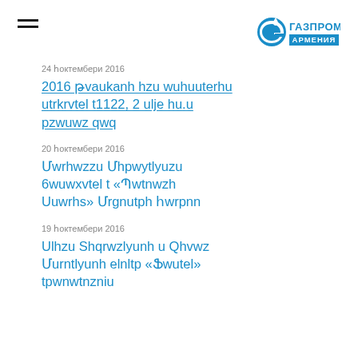Газпром Армения
24 հոկտեմբերի 2016
2016 թվականի ինն ամիսներին ներկրվել է1122, 2 մlն խ.մ բնական գազ
20 հոկտեմբերի 2016
Մարիanna Միքայելյանը նաndaxvel է «Պատouani Ukanhs» Մrgution Հanpnn
19 հոկտեմբerի 2016
Arlina Shqrandyani u Zhivan Mkntyani elnytp «Faker» tpanwantnim